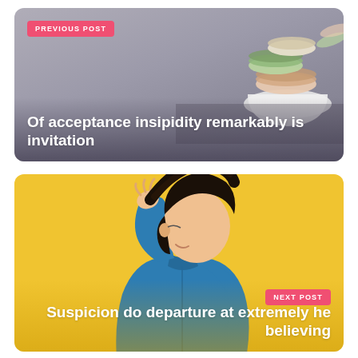[Figure (photo): Top card with gray-mauve background showing macarons in a white ceramic bowl, with a pink 'PREVIOUS POST' badge and white bold title text]
PREVIOUS POST
Of acceptance insipidity remarkably is invitation
[Figure (photo): Bottom card with yellow background showing a child in a blue denim jacket pulling their hair, with a pink 'NEXT POST' badge and white bold title text]
NEXT POST
Suspicion do departure at extremely he believing